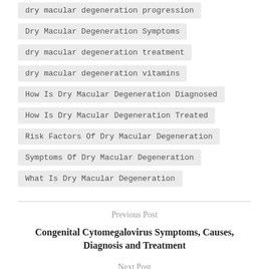dry macular degeneration progression
Dry Macular Degeneration Symptoms
dry macular degeneration treatment
dry macular degeneration vitamins
How Is Dry Macular Degeneration Diagnosed
How Is Dry Macular Degeneration Treated
Risk Factors Of Dry Macular Degeneration
Symptoms Of Dry Macular Degeneration
What Is Dry Macular Degeneration
Previous Post
Congenital Cytomegalovirus Symptoms, Causes, Diagnosis and Treatment
Next Post